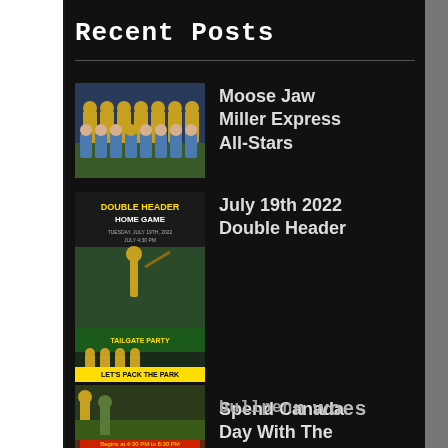Recent Posts
Moose Jaw Miller Express All-Stars
July 19th 2022 Double Header
Spend Canada Day With The Miller Express
n woes